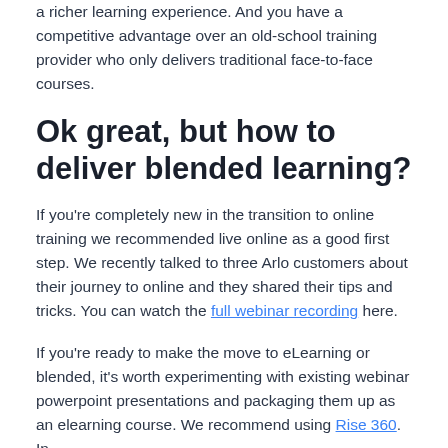a richer learning experience. And you have a competitive advantage over an old-school training provider who only delivers traditional face-to-face courses.
Ok great, but how to deliver blended learning?
If you're completely new in the transition to online training we recommended live online as a good first step. We recently talked to three Arlo customers about their journey to online and they shared their tips and tricks. You can watch the full webinar recording here.
If you're ready to make the move to eLearning or blended, it's worth experimenting with existing webinar powerpoint presentations and packaging them up as an elearning course. We recommend using Rise 360. In